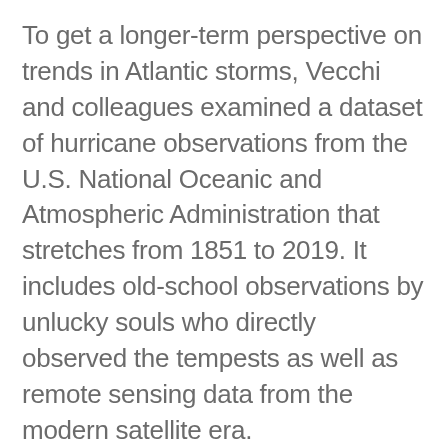To get a longer-term perspective on trends in Atlantic storms, Vecchi and colleagues examined a dataset of hurricane observations from the U.S. National Oceanic and Atmospheric Administration that stretches from 1851 to 2019. It includes old-school observations by unlucky souls who directly observed the tempests as well as remote sensing data from the modern satellite era.
How to directly compare those different types of observations to get an accurate trend was a challenge. Satellites, for example, can see every storm, but earlier observations will count only the storms that people directly experienced. So